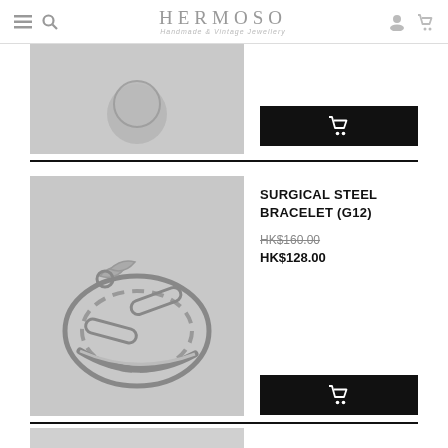HERMOSO Handmade & Vintage Jewellery
[Figure (photo): Partial product image at top of page showing a silver coin charm, cropped]
[Figure (other): Black add to cart button with shopping cart icon]
[Figure (photo): Surgical steel chain bracelet (G12) - silver multi-chain bracelet on grey background]
SURGICAL STEEL BRACELET (G12)
HK$160.00
HK$128.00
[Figure (other): Black add to cart button with shopping cart icon]
[Figure (photo): Bottom stub of next product image, partially visible]